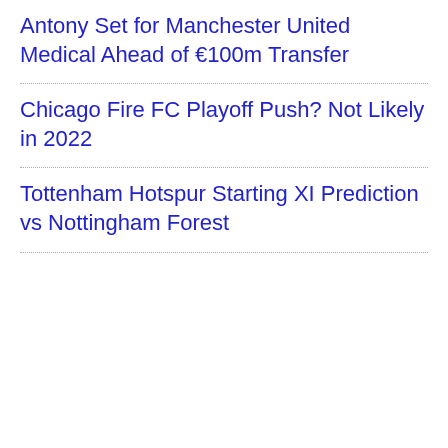Antony Set for Manchester United Medical Ahead of €100m Transfer
Chicago Fire FC Playoff Push? Not Likely in 2022
Tottenham Hotspur Starting XI Prediction vs Nottingham Forest